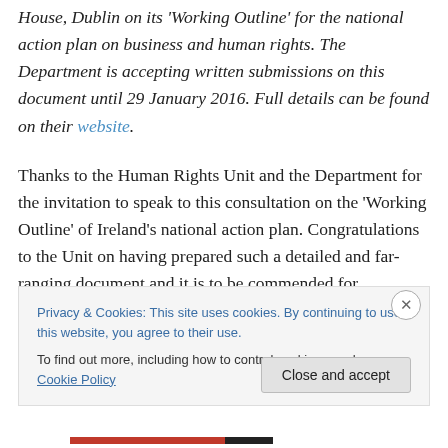House, Dublin on its 'Working Outline' for the national action plan on business and human rights. The Department is accepting written submissions on this document until 29 January 2016. Full details can be found on their website.
Thanks to the Human Rights Unit and the Department for the invitation to speak to this consultation on the 'Working Outline' of Ireland's national action plan. Congratulations to the Unit on having prepared such a detailed and far-ranging document and it is to be commended for
Privacy & Cookies: This site uses cookies. By continuing to use this website, you agree to their use. To find out more, including how to control cookies, see here: Cookie Policy